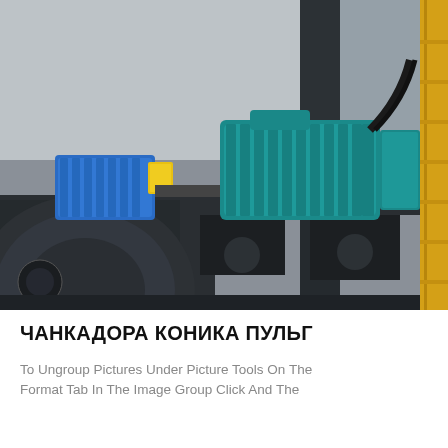[Figure (photo): Industrial machinery photograph showing blue electric motors and dark metal structural components/frame. A teal-colored large electric motor is visible on the right, a smaller blue unit on the left, a yellow ladder or rail on the far right, and a large circular dark metal component (fan or pump housing) in the foreground bottom-left.]
ЧАНКАДОРА КОНИКА ПУЛЬГ
To Ungroup Pictures Under Picture Tools On The Format Tab In The Image Group Click And The...